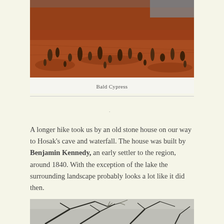[Figure (photo): Photo of bald cypress knees emerging from reddish-brown mulch/soil ground cover]
Bald Cypress
A longer hike took us by an old stone house on our way to Hosak's cave and waterfall. The house was built by Benjamin Kennedy, an early settler to the region, around 1840. With the exception of the lake the surrounding landscape probably looks a lot like it did then.
[Figure (photo): Photo of bare tree branches against a grey winter sky, partially cut off at bottom of page]